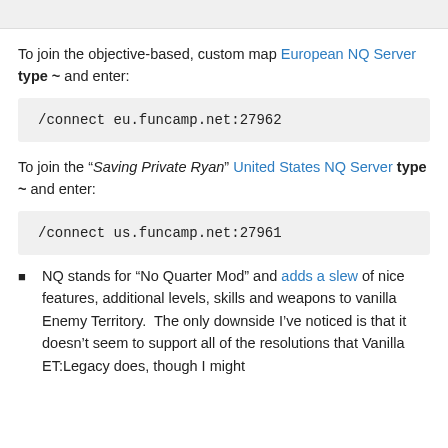To join the objective-based, custom map European NQ Server type ~ and enter:
/connect eu.funcamp.net:27962
To join the “Saving Private Ryan” United States NQ Server type ~ and enter:
/connect us.funcamp.net:27961
NQ stands for “No Quarter Mod” and adds a slew of nice features, additional levels, skills and weapons to vanilla Enemy Territory.  The only downside I’ve noticed is that it doesn’t seem to support all of the resolutions that Vanilla ET:Legacy does, though I might